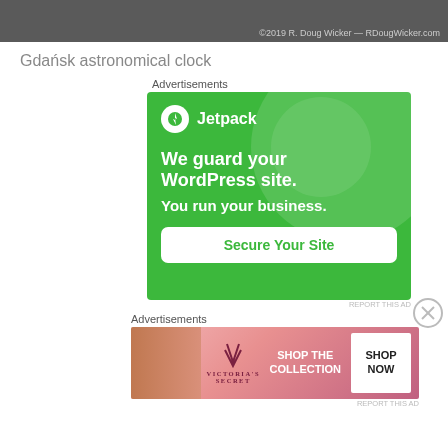[Figure (photo): Top portion of a photo showing a dark/grey scene, with watermark text '©2019 R. Doug Wicker — RDougWicker.com' in the bottom right corner.]
Gdańsk astronomical clock
Advertisements
[Figure (illustration): Jetpack advertisement on a green background. Shows Jetpack logo (circle with lightning bolt), text 'We guard your WordPress site. You run your business.' and a white button 'Secure Your Site'.]
REPORT THIS AD
Advertisements
[Figure (illustration): Victoria's Secret advertisement with model on left, VS logo in center, 'SHOP THE COLLECTION' text, and white 'SHOP NOW' button on right.]
REPORT THIS AD